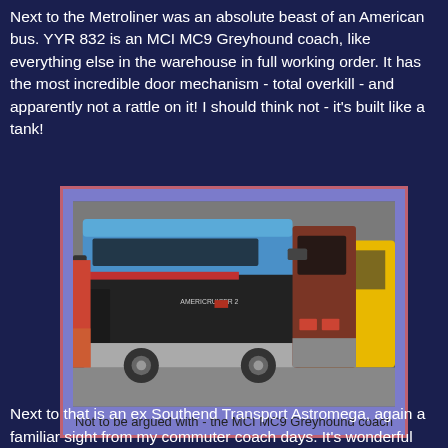Next to the Metroliner was an absolute beast of an American bus. YYR 832 is an MCI MC9 Greyhound coach, like everything else in the warehouse in full working order. It has the most incredible door mechanism - total overkill - and apparently not a rattle on it! I should think not - it's built like a tank!
[Figure (photo): Photo of an MCI MC9 Greyhound coach bus parked inside a warehouse. The bus is blue and silver with a red stripe, labeled 'Americruiser 2'. Other buses are visible in the background.]
Not to be argued with - the MCI MC9 Greyhound coach
Next to that is an ex Southend Transport Astromega, again a familiar sight from my commuter coach days. It's wonderful